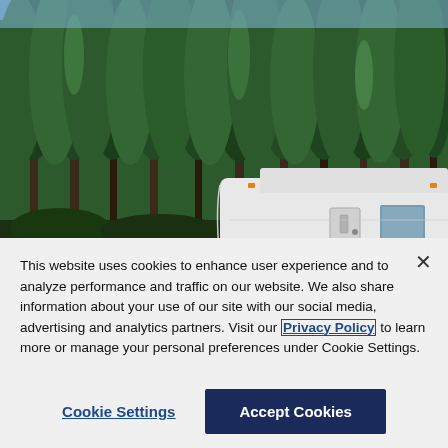[Figure (photo): A white fifth-wheel RV trailer parked in a forest setting with tall green conifer trees in the background under a sunny sky.]
This website uses cookies to enhance user experience and to analyze performance and traffic on our website. We also share information about your use of our site with our social media, advertising and analytics partners. Visit our Privacy Policy to learn more or manage your personal preferences under Cookie Settings.
Cookie Settings
Accept Cookies